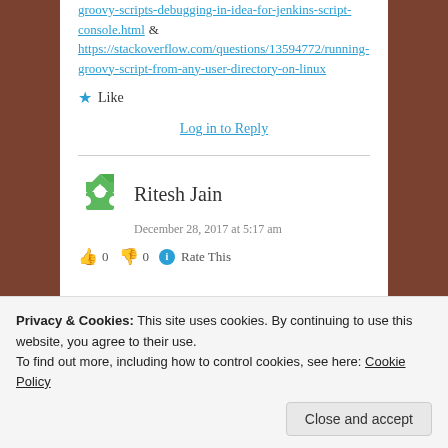groovy-scripts-debugging-in-idea-for-jenkins-script-console.html & https://stackoverflow.com/questions/13594772/running-groovy-script-from-any-user-directory-on-linux
★ Like
Log in to Reply
Ritesh Jain
December 28, 2017 at 5:17 am
👍 0 👎 0 ℹ Rate This
Privacy & Cookies: This site uses cookies. By continuing to use this website, you agree to their use.
To find out more, including how to control cookies, see here: Cookie Policy
Close and accept